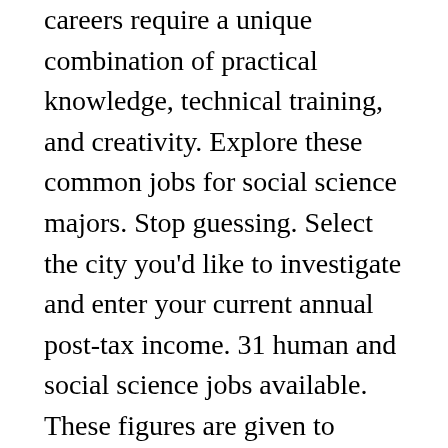careers require a unique combination of practical knowledge, technical training, and creativity. Explore these common jobs for social science majors. Stop guessing. Select the city you'd like to investigate and enter your current annual post-tax income. 31 human and social science jobs available. These figures are given to SimplyHired users for the purpose of generalized comparison only. Other high-earning jobs for graduates with 10 or more years of experience are Fraud Investigator, Urban Planner and Geographic Information Systems (GIS) Analyst. Social Science jobs. Full-time, temporary, and part-time jobs. Search 3,866 Social Science jobs now available on Indeed.com, the world's largest job site. Social